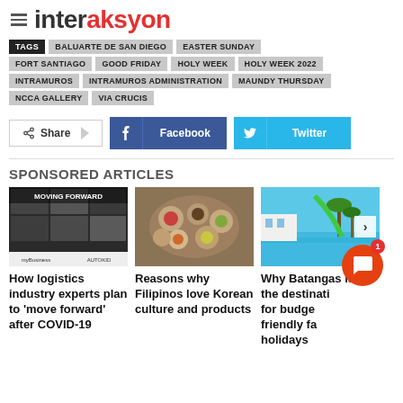[Figure (logo): Interaksyon website logo with hamburger menu icon. 'inter' in dark gray, 'aksyon' in red, with blue accent.]
TAGS | BALUARTE DE SAN DIEGO | EASTER SUNDAY | FORT SANTIAGO | GOOD FRIDAY | HOLY WEEK | HOLY WEEK 2022 | INTRAMUROS | INTRAMUROS ADMINISTRATION | MAUNDY THURSDAY | NCCA GALLERY | VIA CRUCIS
[Figure (screenshot): Share bar with Share button, Facebook button, and Twitter button]
SPONSORED ARTICLES
[Figure (photo): Moving Forward webinar screenshot with multiple participants in video call grid, AUTOKID and myBusiness logos at bottom]
How logistics industry experts plan to 'move forward' after COVID-19
[Figure (photo): Korean food spread with multiple dishes in bowls on a wooden table]
Reasons why Filipinos love Korean culture and products
[Figure (photo): Tropical resort with pool, palm trees, and ocean in background]
Why Batangas is the destination for budget friendly family holidays